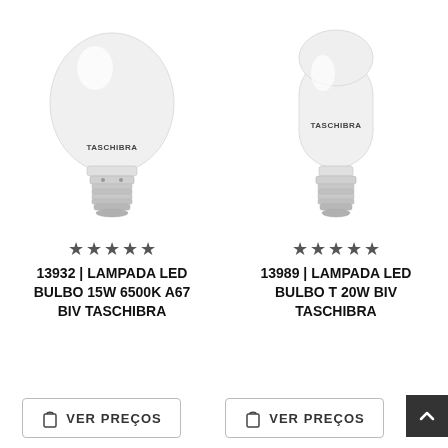[Figure (photo): Standard A67 LED bulb with Taschibra branding, white frosted globe shape with metal E27 base]
[Figure (photo): Tall cylindrical T-shape LED bulb with Taschibra branding, white frosted body with metal E27 base]
★★★★★ (5 stars rating) 13932 | LAMPADA LED BULBO 15W 6500K A67 BIV TASCHIBRA
★★★★★ (5 stars rating) 13989 | LAMPADA LED BULBO T 20W BIV TASCHIBRA
VER PREÇOS
VER PREÇOS